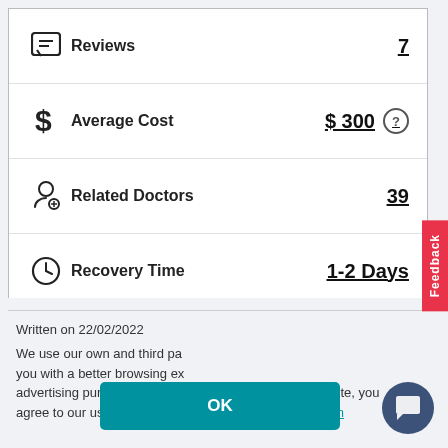| Icon | Label | Value |
| --- | --- | --- |
| [reviews icon] | Reviews | 7 |
| [dollar icon] | Average Cost | $ 300 (?) |
| [stethoscope icon] | Related Doctors | 39 |
| [clock icon] | Recovery Time | 1-2 Days |
Written on 22/02/2022
We use our own and third party cookies to provide you with a better browsing experience and for advertising purposes. By continuing to browse our website, you agree to our use of cookies. Click for detailed information
OK
Hi there 👋 is there a specific reason you are reading this blog? 😊
Feedback